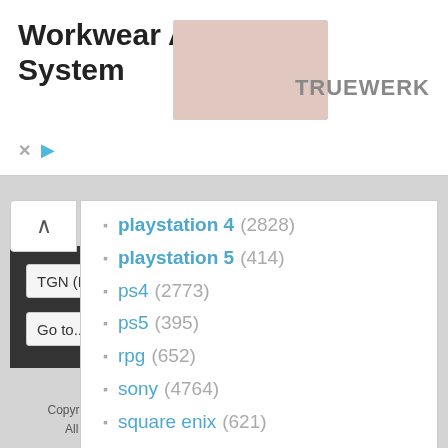[Figure (other): Advertisement banner for Truewerk workwear with title 'Workwear As A System', close and play controls, a product image placeholder, and TRUEWERK logo]
playstation 4 (2828)
playstation 5 (414)
ps4 (2773)
ps5 (395)
rpg (652)
sony (4764)
square enix (621)
steam (1752)
ubisoft (457)
valve (672)
xb1 (2099)
xbox one (2414)
Powered by vBulletin® Version 5.6.9
Copyright © 2022 MH Sub I, LLC dba vBulletin. All rights reserved.
All times are GMT-5. This page was generated at 03:31 AM.